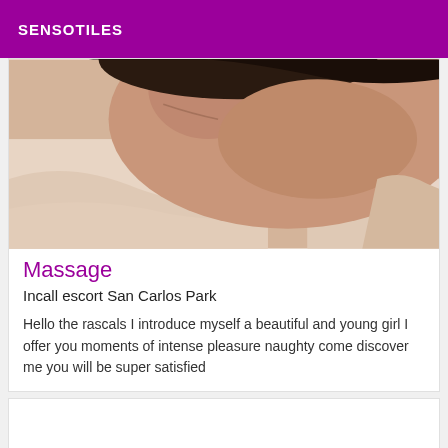SENSOTILES
[Figure (photo): Close-up photo of a person's neck and shoulder area on a light fabric background]
Massage
Incall escort San Carlos Park
Hello the rascals I introduce myself a beautiful and young girl I offer you moments of intense pleasure naughty come discover me you will be super satisfied